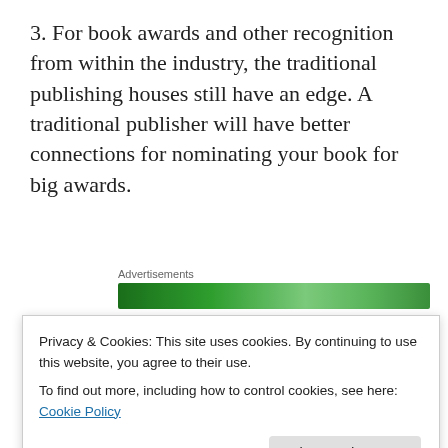3. For book awards and other recognition from within the industry, the traditional publishing houses still have an edge. A traditional publisher will have better connections for nominating your book for big awards.
[Figure (other): Advertisements banner with green gradient background]
4. A traditional publisher pays everyone involved in producing your book. You don't have to worry about finding or vetting these professionals, because the...
Privacy & Cookies: This site uses cookies. By continuing to use this website, you agree to their use. To find out more, including how to control cookies, see here: Cookie Policy